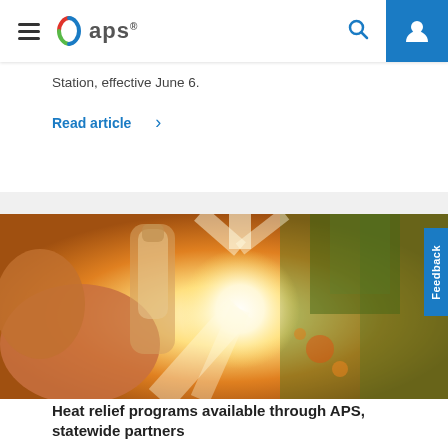APS navigation bar with hamburger menu, APS logo, search icon, and user icon
Station, effective June 6.
Read article >
[Figure (photo): Person drinking from a water bottle outdoors in bright sunlight with trees in background, warm golden light]
Heat relief programs available through APS, statewide partners